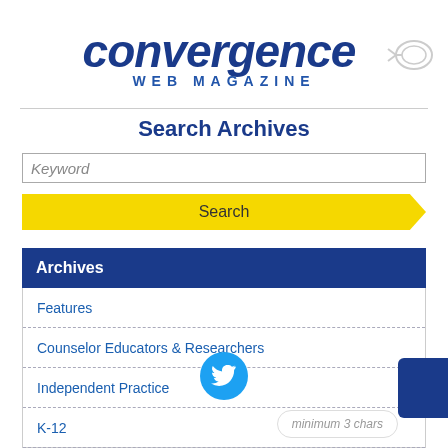[Figure (logo): Convergence Web Magazine logo with italic blue cursive text and yellow highlights, with a mouse icon on the right]
Search Archives
Keyword (input placeholder)
Search (button)
Archives
Features
Counselor Educators & Researchers
Independent Practice
K-12
Post-Secondary